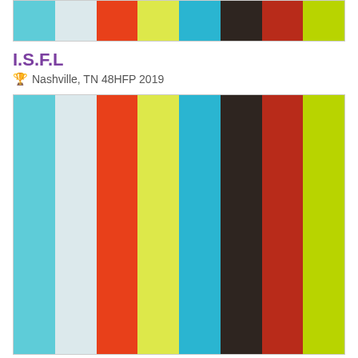[Figure (illustration): Top color palette strip showing 8 color swatches: cyan, light gray, orange-red, yellow-green, sky blue, dark brown, dark red, lime green]
I.S.F.L
🏆 Nashville, TN 48HFP 2019
[Figure (illustration): Main color palette showing 8 vertical color swatches: cyan, light gray, orange-red, yellow-green, sky blue, dark brown/charcoal, dark red, lime green]